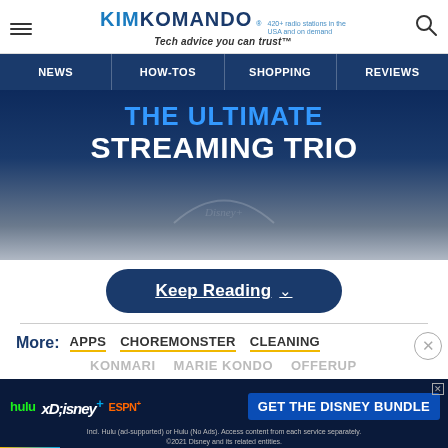KIMKOMANDO® 420+ radio stations in the USA and on demand — Tech advice you can trust™
NEWS | HOW-TOS | SHOPPING | REVIEWS
[Figure (screenshot): Advertisement banner: THE ULTIMATE STREAMING TRIO with Disney/Hulu/ESPN+ branding on dark blue background]
Keep Reading ˅
More: APPS  CHOREMONSTER  CLEANING
KONMARI  MARIE KONDO  OFFERUP
[Figure (screenshot): Disney Bundle ad: hulu Disney+ ESPN+ GET THE DISNEY BUNDLE — Incl. Hulu (ad-supported) or Hulu (No Ads). Access content from each service separately. ©2021 Disney and its related entities.]